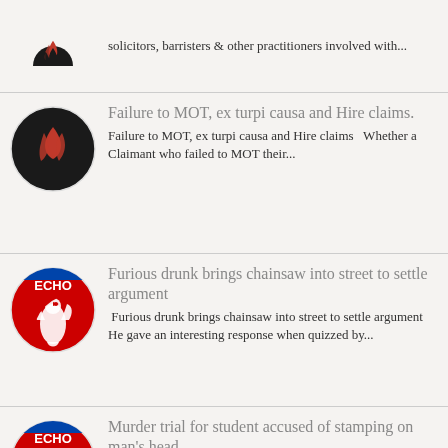[Figure (logo): Dark circle with red flame/swirl logo (partial, top cut off)]
solicitors, barristers & other practitioners involved with...
[Figure (logo): Black circle with red flame/swirl icon]
Failure to MOT, ex turpi causa and Hire claims.
Failure to MOT, ex turpi causa and Hire claims   Whether a Claimant who failed to MOT their...
[Figure (logo): Liverpool Echo logo - red circle with white liver bird and ECHO text]
Furious drunk brings chainsaw into street to settle argument
Furious drunk brings chainsaw into street to settle argument He gave an interesting response when quizzed by...
[Figure (logo): Liverpool Echo logo - red circle with white liver bird and ECHO text]
Murder trial for student accused of stamping on man's head
Murder trial for student accused of stamping on man's head Elvis Duruaku denies killing Hassan Haadi in an...